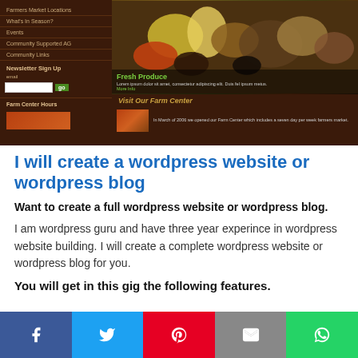[Figure (screenshot): Screenshot of a farm/farmers market WordPress website with dark brown sidebar navigation (Farmers Market Locations, What's In Season?, Events, Community Supported AG, Community Links, Newsletter Sign Up, Farm Center Hours), a fresh produce image with overlay text 'Fresh Produce', and a 'Visit Our Farm Center' section.]
I will create a wordpress website or wordpress blog
Want to create a full wordpress website or wordpress blog.
I am wordpress guru and have three year experince in wordpress website building. I will create a complete wordpress website or wordpress blog for you.
You will get in this gig the following features.
[Figure (infographic): Social sharing bar at bottom with Facebook (blue), Twitter (light blue), Pinterest (red), Email (gray), WhatsApp (green) buttons]